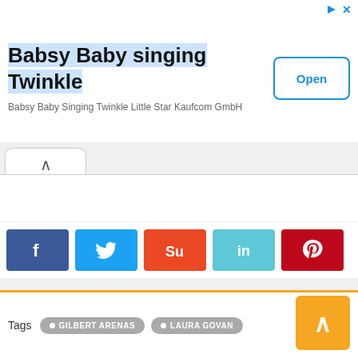[Figure (screenshot): Advertisement banner for Babsy Baby singing Twinkle app with Open button]
Babsy Baby singing Twinkle
Babsy Baby Singing Twinkle Little Star Kaufcom GmbH
[Figure (screenshot): Social share buttons: Facebook, Twitter, StumbleUpon, LinkedIn, Pinterest]
Tags  GILBERT ARENAS  LAURA GOVAN